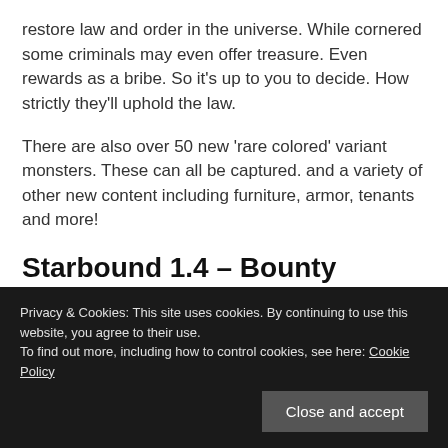restore law and order in the universe. While cornered some criminals may even offer treasure. Even rewards as a bribe. So it's up to you to decide. How strictly they'll uphold the law.
There are also over 50 new 'rare colored' variant monsters. These can all be captured. and a variety of other new content including furniture, armor, tenants and more!
Starbound 1.4 – Bounty Hunter Update Trailer (Linux, Mac and Windows PC)
Privacy & Cookies: This site uses cookies. By continuing to use this website, you agree to their use.
To find out more, including how to control cookies, see here: Cookie Policy